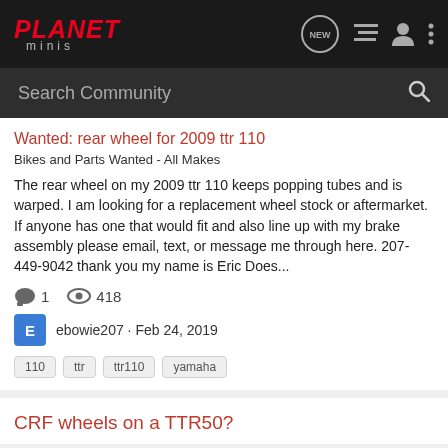Planet Minis — navigation bar with logo and icons
Search Community
Wanted: rear wheel for 2009 ttr 110
Bikes and Parts Wanted - All Makes
The rear wheel on my 2009 ttr 110 keeps popping tubes and is warped. I am looking for a replacement wheel stock or aftermarket. If anyone has one that would fit and also line up with my brake assembly please email, text, or message me through here. 207-449-9042 thank you my name is Eric Does...
1 comment, 418 views
ebowie207 · Feb 24, 2019
110
ttr
ttr110
yamaha
CRF wheels on a TTR50?